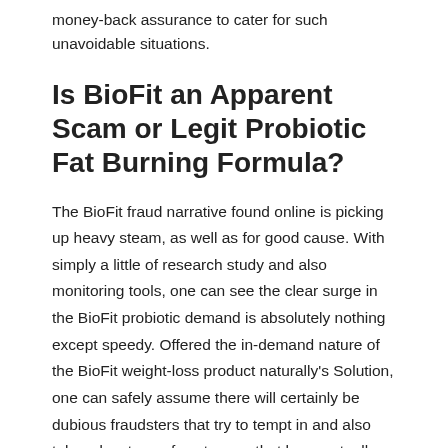money-back assurance to cater for such unavoidable situations.
Is BioFit an Apparent Scam or Legit Probiotic Fat Burning Formula?
The BioFit fraud narrative found online is picking up heavy steam, as well as for good cause. With simply a little of research study and also monitoring tools, one can see the clear surge in the BioFit probiotic demand is absolutely nothing except speedy. Offered the in-demand nature of the BioFit weight-loss product naturally's Solution, one can safely assume there will certainly be dubious fraudsters that try to tempt in and also take advantage of customers that have actually refrained the appropriate due persistance in order to comprehend how to protect themselves to the max.
The most...